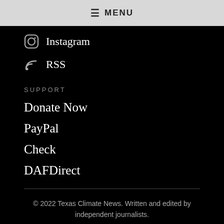≡ MENU
Instagram
RSS
SUPPORT
Donate Now
PayPal
Check
DAFDirect
© 2022 Texas Climate News. Written and edited by independent journalists.